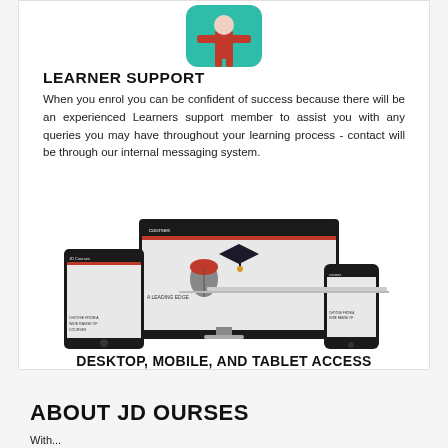[Figure (illustration): Icon of a person/learner with a teal rounded square background and red figure, representing learner support]
LEARNER SUPPORT
When you enrol you can be confident of success because there will be an experienced Learners support member to assist you with any queries you may have throughout your learning process - contact will be through our internal messaging system.
[Figure (screenshot): Screenshot showing JD Courses website displayed on desktop monitor, tablet, and mobile phone devices]
DESKTOP, MOBILE, AND TABLET ACCESS
ABOUT JD OURSES
With...